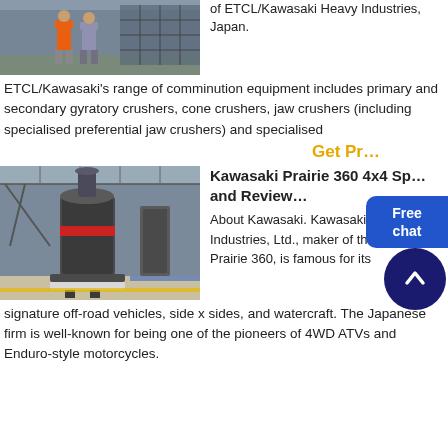[Figure (photo): Two workers in orange safety vests in an industrial facility]
of ETCL/Kawasaki Heavy Industries, Japan.
ETCL/Kawasaki's range of comminution equipment includes primary and secondary gyratory crushers, cone crushers, jaw crushers (including specialised preferential jaw crushers) and specialised
Get Pr...
[Figure (photo): Large industrial grinding mill machine inside a factory]
Kawasaki Prairie 360 4x4 Sp... and Review...
About Kawasaki. Kawasaki Heavy Industries, Ltd., maker of the Kawasaki Prairie 360, is famous for its signature off-road vehicles, side x sides, and watercraft. The Japanese firm is well-known for being one of the pioneers of 4WD ATVs and Enduro-style motorcycles.